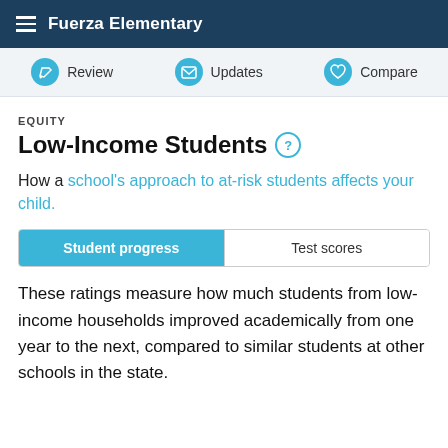Fuerza Elementary
EQUITY
Low-Income Students
How a school's approach to at-risk students affects your child.
Student progress | Test scores
These ratings measure how much students from low-income households improved academically from one year to the next, compared to similar students at other schools in the state.